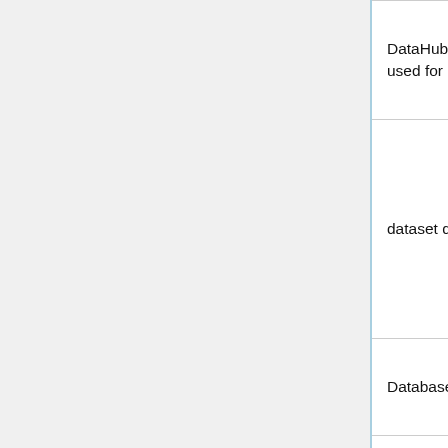| Name | Description |
| --- | --- |
| datahubsearch | DataHub OpenSea… used for Data Cata… |
| dataset | dataset dumps sto… |
| db | Database host |
| dbmonitor | Database monitori… |
| dborch | Database orchestr… Orchestrator) |
| dbprov | Database backup … data provisioning |
| dbproxy | Database proxy |
|  |  |